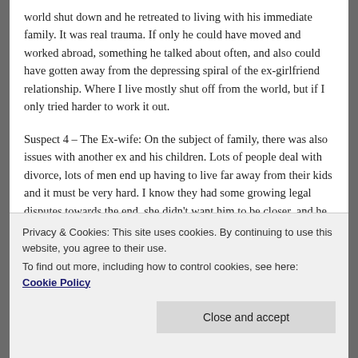world shut down and he retreated to living with his immediate family. It was real trauma. If only he could have moved and worked abroad, something he talked about often, and also could have gotten away from the depressing spiral of the ex-girlfriend relationship. Where I live mostly shut off from the world, but if I only tried harder to work it out.
Suspect 4 – The Ex-wife: On the subject of family, there was also issues with another ex and his children. Lots of people deal with divorce, lots of men end up having to live far away from their kids and it must be very hard. I know they had some growing legal disputes towards the end, she didn't want him to be closer, and he didn't approve of
Privacy & Cookies: This site uses cookies. By continuing to use this website, you agree to their use.
To find out more, including how to control cookies, see here: Cookie Policy